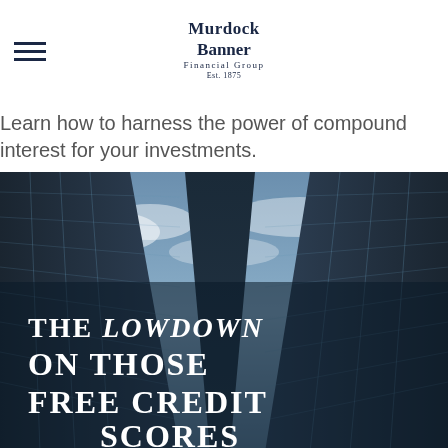Murdock Banner Financial Group Est. 1875
Learn how to harness the power of compound interest for your investments.
[Figure (photo): Upward-angled view of tall glass skyscrapers against a cloudy blue sky, with large white text overlay reading: THE LOWDOWN ON THOSE FREE CREDIT SCORES]